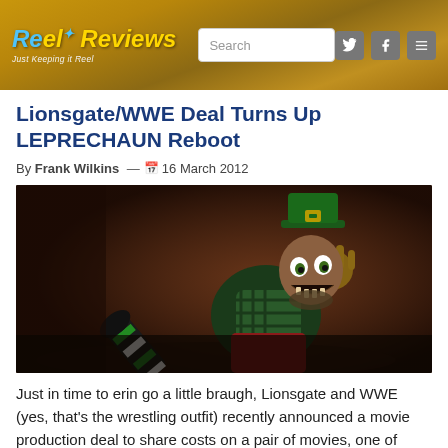Reel Reviews — Just Keeping it Reel
Lionsgate/WWE Deal Turns Up LEPRECHAUN Reboot
By Frank Wilkins — 16 March 2012
[Figure (photo): A costumed leprechaun character with green top hat, plaid vest, striped socks, kicking his leg up and grinning menacingly — from the Leprechaun horror franchise.]
Just in time to erin go a little braugh, Lionsgate and WWE (yes, that's the wrestling outfit) recently announced a movie production deal to share costs on a pair of movies, one of which is said to be a reboot of the Leprechaun franchise.